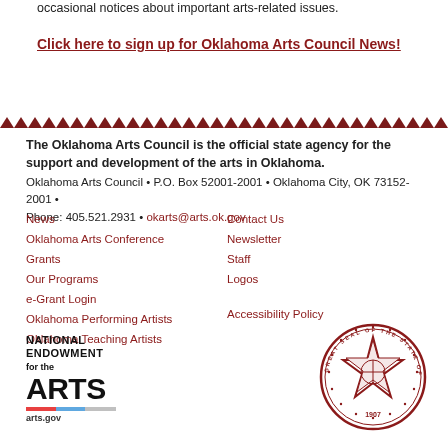occasional notices about important arts-related issues.
Click here to sign up for Oklahoma Arts Council News!
[Figure (other): Decorative zigzag/chevron border pattern in dark red/maroon color spanning the full width of the page]
The Oklahoma Arts Council is the official state agency for the support and development of the arts in Oklahoma.
Oklahoma Arts Council • P.O. Box 52001-2001 • Oklahoma City, OK 73152-2001 • Phone: 405.521.2931 • okarts@arts.ok.gov
News
Oklahoma Arts Conference
Grants
Our Programs
e-Grant Login
Oklahoma Performing Artists
Oklahoma Teaching Artists
Contact Us
Newsletter
Staff
Logos
Accessibility Policy
[Figure (logo): National Endowment for the Arts logo with text 'NATIONAL ENDOWMENT for the ARTS arts.gov' and red/blue/silver striped bar]
[Figure (logo): Great Seal of the State of Oklahoma, circular seal in dark red with '1907' at bottom]